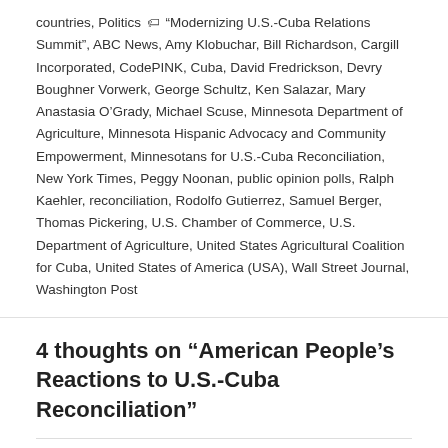countries, Politics 🏷 "Modernizing U.S.-Cuba Relations Summit", ABC News, Amy Klobuchar, Bill Richardson, Cargill Incorporated, CodePINK, Cuba, David Fredrickson, Devry Boughner Vorwerk, George Schultz, Ken Salazar, Mary Anastasia O'Grady, Michael Scuse, Minnesota Department of Agriculture, Minnesota Hispanic Advocacy and Community Empowerment, Minnesotans for U.S.-Cuba Reconciliation, New York Times, Peggy Noonan, public opinion polls, Ralph Kaehler, reconciliation, Rodolfo Gutierrez, Samuel Berger, Thomas Pickering, U.S. Chamber of Commerce, U.S. Department of Agriculture, United States Agricultural Coalition for Cuba, United States of America (USA), Wall Street Journal, Washington Post
4 thoughts on “American People's Reactions to U.S.-Cuba Reconciliation”
dwkcommentaries
February 12, 2015 at 8:11 pm
Comment: Twin Cities Newspaper Endorses U.S.-Cuba